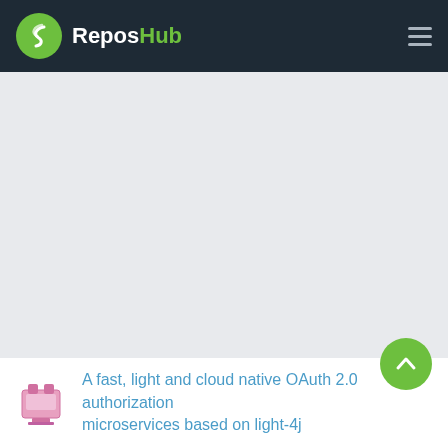ReposHub
[Figure (screenshot): Large empty grey area representing a loading or blank content section of the ReposHub website]
A fast, light and cloud native OAuth 2.0 authorization microservices based on light-4j